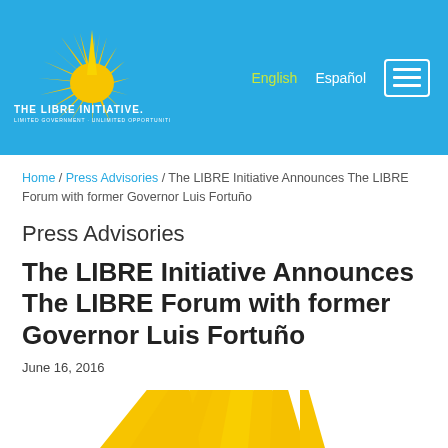[Figure (logo): The LIBRE Initiative logo with yellow sunburst graphic, white text 'THE LIBRE INITIATIVE.' and subtitle 'LIMITED GOVERNMENT · UNLIMITED OPPORTUNITIES' on a blue background header bar with English/Español navigation links and hamburger menu button]
Home / Press Advisories / The LIBRE Initiative Announces The LIBRE Forum with former Governor Luis Fortuño
Press Advisories
The LIBRE Initiative Announces The LIBRE Forum with former Governor Luis Fortuño
June 16, 2016
[Figure (illustration): Partial view of yellow sunburst rays at bottom of page, cropped]